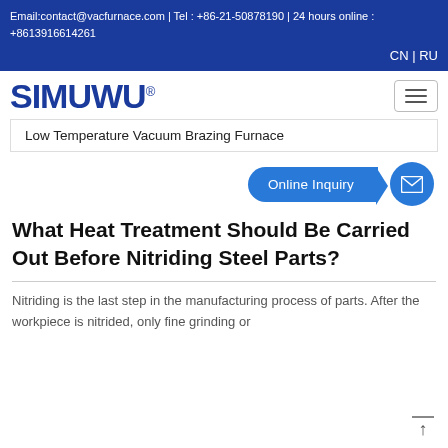Email:contact@vacfurnace.com | Tel : +86-21-50878190 | 24 hours online : +8613916614261
CN | RU
[Figure (logo): SIMUWU logo with registered trademark symbol]
Low Temperature Vacuum Brazing Furnace
Online Inquiry
What Heat Treatment Should Be Carried Out Before Nitriding Steel Parts?
Nitriding is the last step in the manufacturing process of parts. After the workpiece is nitrided, only fine grinding or